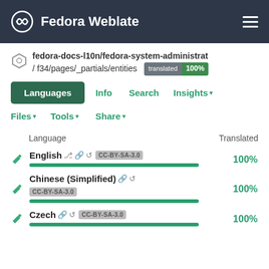Fedora Weblate
fedora-docs-l10n/fedora-system-administrat / f34/pages/_partials/entities  translated 100%
Languages  Info  Search  Insights ▾  Files ▾  Tools ▾  Share ▾
|  | Language | Translated |
| --- | --- | --- |
| ✏ | English ⎇ 🔗 ↺ CC-BY-SA-3.0 | 100% |
| ✏ | Chinese (Simplified) 🔗 ↺ CC-BY-SA-3.0 | 100% |
| ✏ | Czech 🔗 ↺ CC-BY-SA-3.0 | 100% |